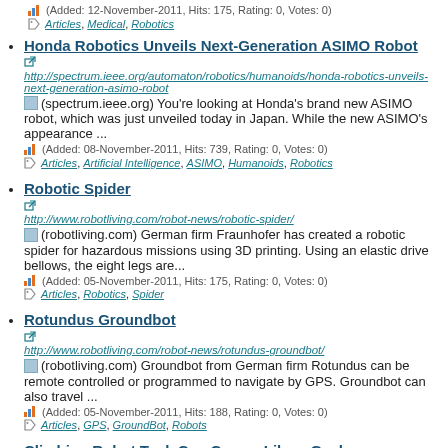(Added: 12-November-2011, Hits: 175, Rating: 0, Votes: 0)
Articles, Medical, Robotics
Honda Robotics Unveils Next-Generation ASIMO Robot
http://spectrum.ieee.org/automaton/robotics/humanoids/honda-robotics-unveils-next-generation-asimo-robot
(spectrum.ieee.org) You're looking at Honda's brand new ASIMO robot, which was just unveiled today in Japan. While the new ASIMO's appearance ...
(Added: 08-November-2011, Hits: 739, Rating: 0, Votes: 0)
Articles, Artificial Intelligence, ASIMO, Humanoids, Robotics
Robotic Spider
http://www.robotliving.com/robot-news/robotic-spider/
(robotliving.com) German firm Fraunhofer has created a robotic spider for hazardous missions using 3D printing. Using an elastic drive bellows, the eight legs are...
(Added: 05-November-2011, Hits: 175, Rating: 0, Votes: 0)
Articles, Robotics, Spider
Rotundus Groundbot
http://www.robotliving.com/robot-news/rotundus-groundbot/
(robotliving.com) Groundbot from German firm Rotundus can be remote controlled or programmed to navigate by GPS. Groundbot can also travel ...
(Added: 05-November-2011, Hits: 188, Rating: 0, Votes: 0)
Articles, GPS, GroundBot, Robots
Climbing Robot Tank Can Corner Like a Gecko
http://spectrum.ieee.org/automaton/robotics/diy/climbing-robot-tank-can-corner-like-a-gecko
(spectrum.ieee.org) This is not the first sticky-treaded robotank, but as far as I know, it's the first one that can manage to go around corners and